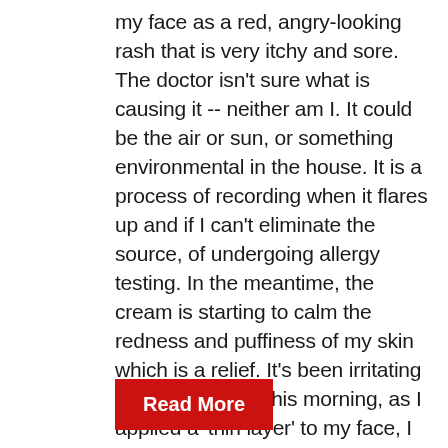my face as a red, angry-looking rash that is very itchy and sore. The doctor isn't sure what is causing it -- neither am I. It could be the air or sun, or something environmental in the house. It is a process of recording when it flares up and if I can't eliminate the source, of undergoing allergy testing. In the meantime, the cream is starting to calm the redness and puffiness of my skin which is a relief. It's been irritating to say the least.This morning, as I applied a 'thin layer' to my face, I was wishing it would hurry up and work. Couldn't it do its job faster? Sort of like after the sociopath was removed from my life. Couldn't I hurry ...
Read More